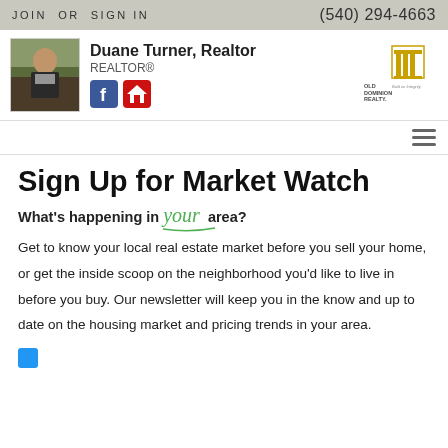JOIN OR SIGN IN | (540) 294-4663
Duane Turner, Realtor
REALTOR®
[Figure (photo): Photo of Duane Turner, a man in a suit, outdoors]
[Figure (logo): Old Dominion Realty logo]
Sign Up for Market Watch
What's happening in your area?
Get to know your local real estate market before you sell your home, or get the inside scoop on the neighborhood you'd like to live in before you buy. Our newsletter will keep you in the know and up to date on the housing market and pricing trends in your area.